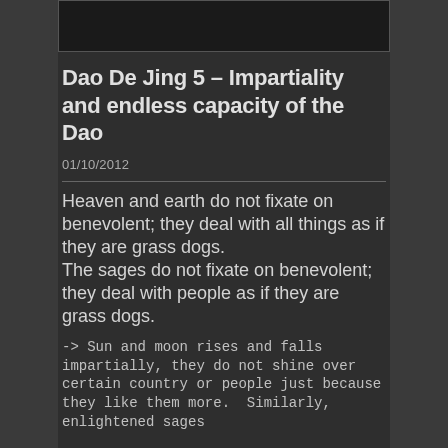[Figure (other): Top portion of an image, partially visible, dark interior]
Dao De Jing 5 – Impartiality and endless capacity of the Dao
01/10/2012
Heaven and earth do not fixate on benevolent; they deal with all things as if they are grass dogs.
The sages do not fixate on benevolent; they deal with people as if they are grass dogs.
-> Sun and moon rises and falls impartially, they do not shine over certain country or people just because they like them more.  Similarly, enlightened sages